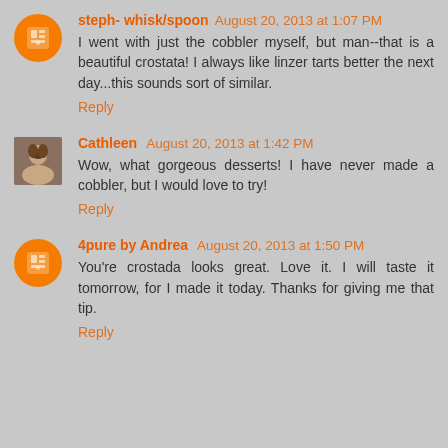steph- whisk/spoon  August 20, 2013 at 1:07 PM
I went with just the cobbler myself, but man--that is a beautiful crostata! I always like linzer tarts better the next day...this sounds sort of similar.
Reply
Cathleen  August 20, 2013 at 1:42 PM
Wow, what gorgeous desserts! I have never made a cobbler, but I would love to try!
Reply
4pure by Andrea  August 20, 2013 at 1:50 PM
You're crostada looks great. Love it. I will taste it tomorrow, for I made it today. Thanks for giving me that tip.
Reply